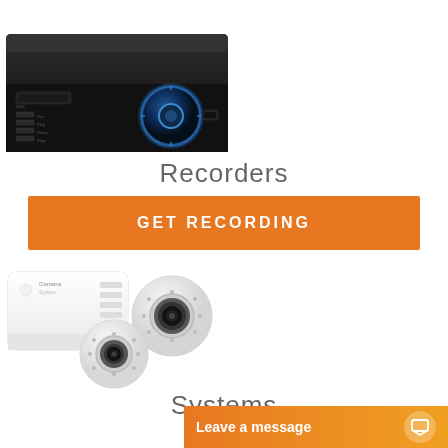[Figure (photo): Black DVR/NVR recorder device with blue ring dial and control buttons on front panel]
Recorders
GET RECORDING
[Figure (photo): White CCTV security system kit with DVR box and two dome cameras]
Systems
Leave a message